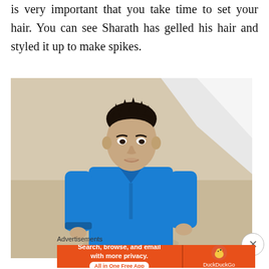is very important that you take time to set your hair. You can see Sharath has gelled his hair and styled it up to make spikes.
[Figure (photo): A young man wearing a blue shirt standing outdoors. He has dark hair styled with gel into spikes. The background shows a light-colored wall and sandy ground.]
Advertisements
[Figure (other): DuckDuckGo advertisement banner: orange background with text 'Search, browse, and email with more privacy.' and 'All in One Free App' button, alongside DuckDuckGo logo and name.]